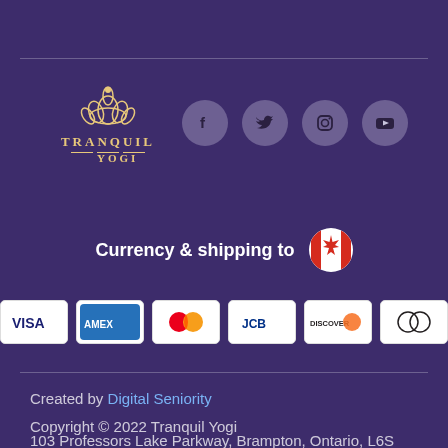[Figure (logo): Tranquil Yogi logo with lotus flower icon and decorative text]
[Figure (illustration): Social media icons: Facebook, Twitter, Instagram, YouTube in grey circles]
Currency & shipping to
[Figure (illustration): Payment method icons: VISA, AMEX, Mastercard, JCB, Discover, Diners Club]
Created by Digital Seniority
Copyright © 2022 Tranquil Yogi
103 Professors Lake Parkway, Brampton, Ontario, L6S